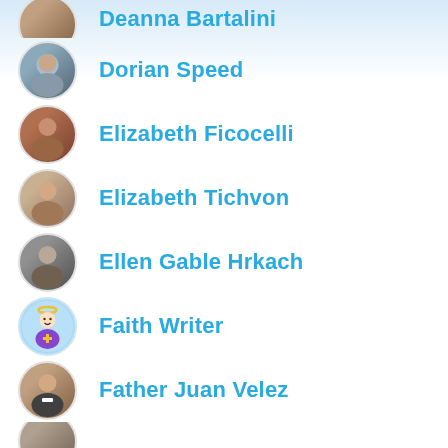Deanna Bartalini (partial, top)
Dorian Speed
Elizabeth Ficocelli
Elizabeth Tichvon
Ellen Gable Hrkach
Faith Writer
Father Juan Velez
Gabriel Garnica (partial, bottom)